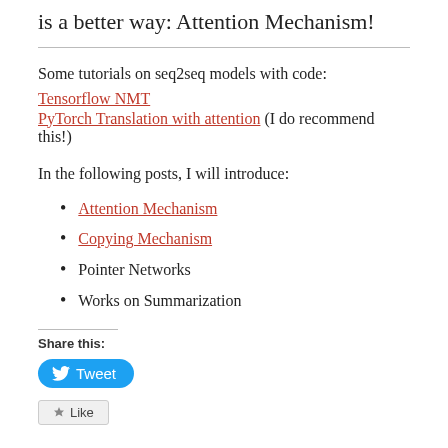is a better way: Attention Mechanism!
Some tutorials on seq2seq models with code:
Tensorflow NMT
PyTorch Translation with attention (I do recommend this!)
In the following posts,  I will introduce:
Attention Mechanism
Copying Mechanism
Pointer Networks
Works on Summarization
Share this:
Tweet